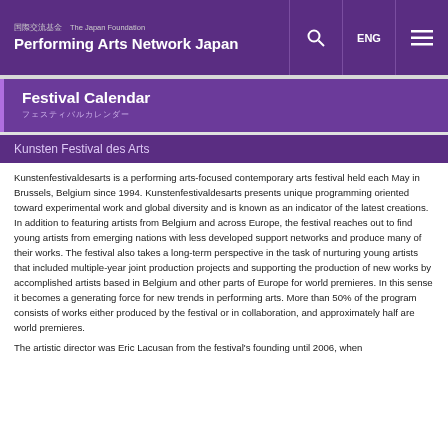国際交流基金 The Japan Foundation Performing Arts Network Japan
Festival Calendar
Kunsten Festival des Arts
Kunstenfestivaldesarts is a performing arts-focused contemporary arts festival held each May in Brussels, Belgium since 1994. Kunstenfestivaldesarts presents unique programming oriented toward experimental work and global diversity and is known as an indicator of the latest creations. In addition to featuring artists from Belgium and across Europe, the festival reaches out to find young artists from emerging nations with less developed support networks and produce many of their works. The festival also takes a long-term perspective in the task of nurturing young artists that included multiple-year joint production projects and supporting the production of new works by accomplished artists based in Belgium and other parts of Europe for world premieres. In this sense it becomes a generating force for new trends in performing arts. More than 50% of the program consists of works either produced by the festival or in collaboration, and approximately half are world premieres.
The artistic director was Eric Lacusan from the festival's founding until 2006, when